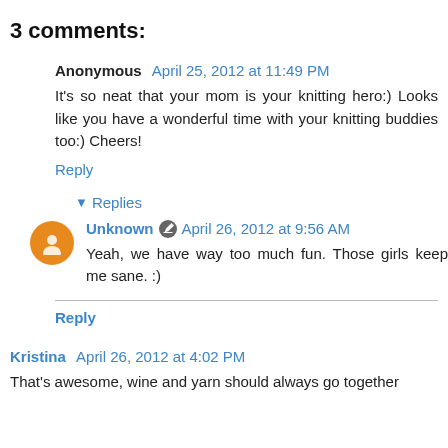3 comments:
Anonymous April 25, 2012 at 11:49 PM
It's so neat that your mom is your knitting hero:) Looks like you have a wonderful time with your knitting buddies too:) Cheers!
Reply
▾ Replies
Unknown April 26, 2012 at 9:56 AM
Yeah, we have way too much fun. Those girls keep me sane. :)
Reply
Kristina April 26, 2012 at 4:02 PM
That's awesome, wine and yarn should always go together